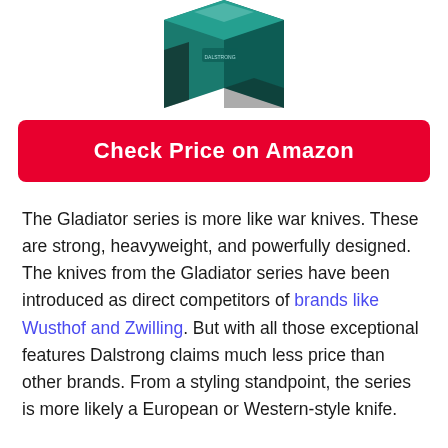[Figure (photo): Product box image of a Dalstrong Gladiator series knife set, teal and black box, partially cropped at top of page]
Check Price on Amazon
The Gladiator series is more like war knives. These are strong, heavyweight, and powerfully designed. The knives from the Gladiator series have been introduced as direct competitors of brands like Wusthof and Zwilling. But with all those exceptional features Dalstrong claims much less price than other brands. From a styling standpoint, the series is more likely a European or Western-style knife.